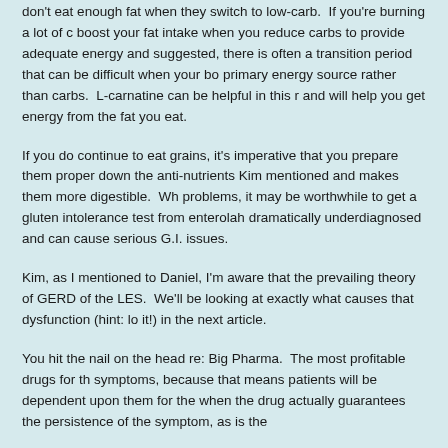don't eat enough fat when they switch to low-carb. If you're burning a lot of d... boost your fat intake when you reduce carbs to provide adequate energy and... suggested, there is often a transition period that can be difficult when your b... primary energy source rather than carbs. L-carnatine can be helpful in this r... and will help you get energy from the fat you eat.
If you do continue to eat grains, it's imperative that you prepare them proper... down the anti-nutrients Kim mentioned and makes them more digestible. Wh... problems, it may be worthwhile to get a gluten intolerance test from enterola... dramatically underdiagnosed and can cause serious G.I. issues.
Kim, as I mentioned to Daniel, I'm aware that the prevailing theory of GERD ... of the LES. We'll be looking at exactly what causes that dysfunction (hint: lo... it!) in the next article.
You hit the nail on the head re: Big Pharma. The most profitable drugs for th... symptoms, because that means patients will be dependent upon them for the... when the drug actually guarantees the persistence of the symptom, as is the...
REPLY